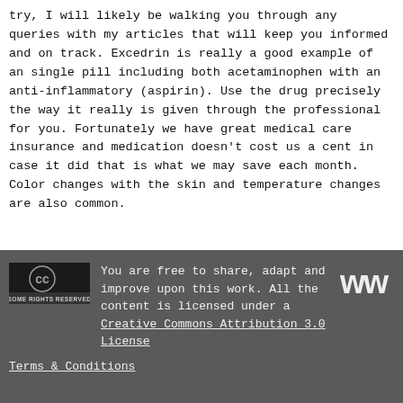try, I will likely be walking you through any queries with my articles that will keep you informed and on track. Excedrin is really a good example of an single pill including both acetaminophen with an anti-inflammatory (aspirin). Use the drug precisely the way it really is given through the professional for you. Fortunately we have great medical care insurance and medication doesn't cost us a cent in case it did that is what we may save each month. Color changes with the skin and temperature changes are also common.
You are free to share, adapt and improve upon this work. All the content is licensed under a Creative Commons Attribution 3.0 License

Terms & Conditions